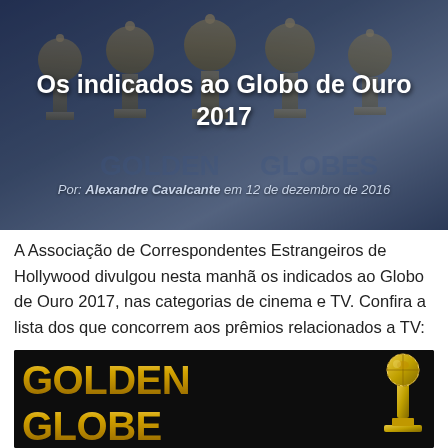[Figure (photo): Hero image showing Golden Globe trophy statuettes in the background with a dark blue-grey overlay.]
Os indicados ao Globo de Ouro 2017
Por: Alexandre Cavalcante em 12 de dezembro de 2016
A Associação de Correspondentes Estrangeiros de Hollywood divulgou nesta manhã os indicados ao Globo de Ouro 2017, nas categorias de cinema e TV. Confira a lista dos que concorrem aos prêmios relacionados a TV:
[Figure (photo): Golden Globe logo image showing large gold 3D letters spelling GOLDEN GLOBE on a dark background, with the Golden Globe trophy statuette on the right.]